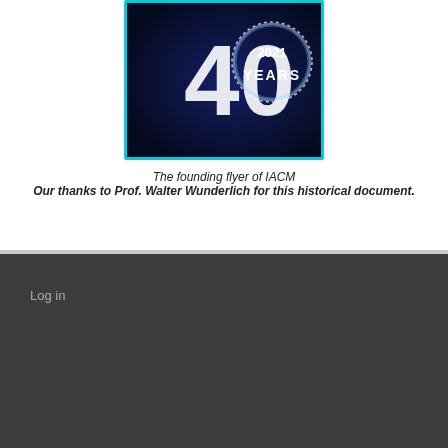[Figure (logo): IACM 40 Years 2021 logo — dark blue background with large '40' text and a glowing blue circular ring, '2021' inside the ring, 'YEARS' text below, with a cyan border]
The founding flyer of IACM
Our thanks to Prof. Walter Wunderlich for this historical document.
Log in